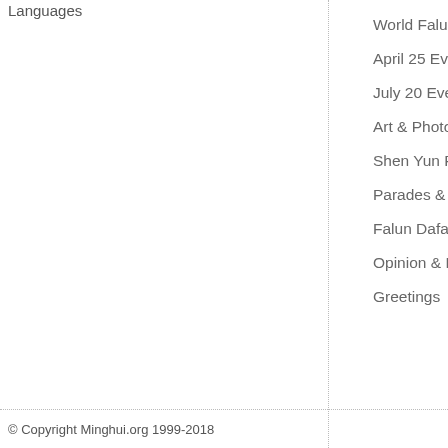Languages
World Falun Dafa Day
April 25 Events
July 20 Events
Art & Photo Exhibits
Shen Yun Performing Arts
Parades & Other Community Events
Falun Dafa in the Media
Opinion & Perspective
Greetings
Disap...
Perse...
PROPA...
Peace... 1999
1,400
Self-I... Tiana...
More
© Copyright Minghui.org 1999-2018